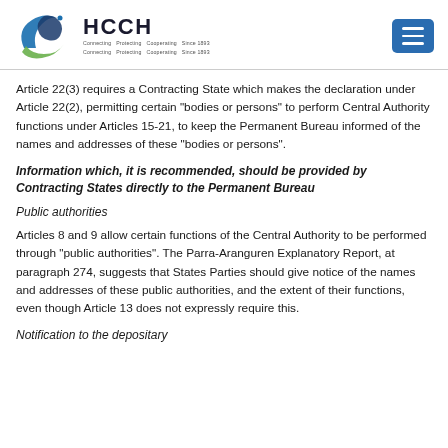HCCH
Article 22(3) requires a Contracting State which makes the declaration under Article 22(2), permitting certain "bodies or persons" to perform Central Authority functions under Articles 15-21, to keep the Permanent Bureau informed of the names and addresses of these "bodies or persons".
Information which, it is recommended, should be provided by Contracting States directly to the Permanent Bureau
Public authorities
Articles 8 and 9 allow certain functions of the Central Authority to be performed through "public authorities". The Parra-Aranguren Explanatory Report, at paragraph 274, suggests that States Parties should give notice of the names and addresses of these public authorities, and the extent of their functions, even though Article 13 does not expressly require this.
Notification to the depositary